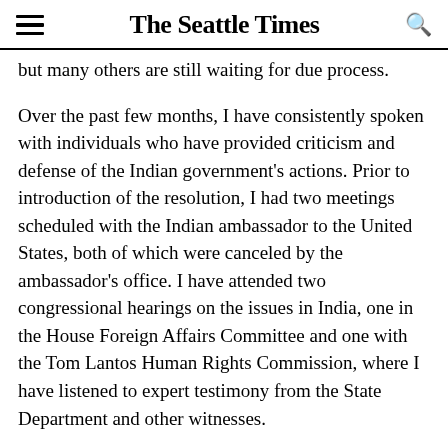The Seattle Times
but many others are still waiting for due process.
Over the past few months, I have consistently spoken with individuals who have provided criticism and defense of the Indian government's actions. Prior to introduction of the resolution, I had two meetings scheduled with the Indian ambassador to the United States, both of which were canceled by the ambassador's office. I have attended two congressional hearings on the issues in India, one in the House Foreign Affairs Committee and one with the Tom Lantos Human Rights Commission, where I have listened to expert testimony from the State Department and other witnesses.
Unfortunately, the conclusions are intended to be...